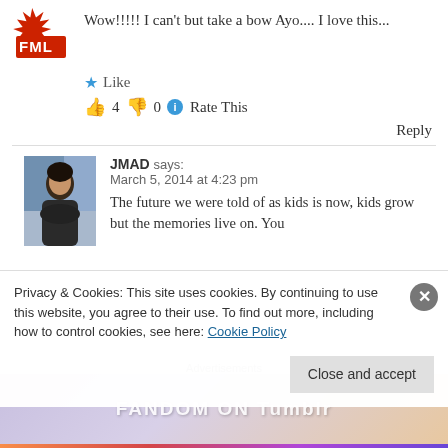[Figure (logo): Red FML logo icon]
Wow!!!!! I can't but take a bow Ayo.... I love this...
★ Like
👍 4 👎 0 ℹ Rate This
Reply
[Figure (photo): Profile photo of JMAD, a young woman seated indoors]
JMAD says: March 5, 2014 at 4:23 pm
The future we were told of as kids is now, kids grow but the memories live on. You
Privacy & Cookies: This site uses cookies. By continuing to use this website, you agree to their use. To find out more, including how to control cookies, see here: Cookie Policy
Close and accept
Advertisements